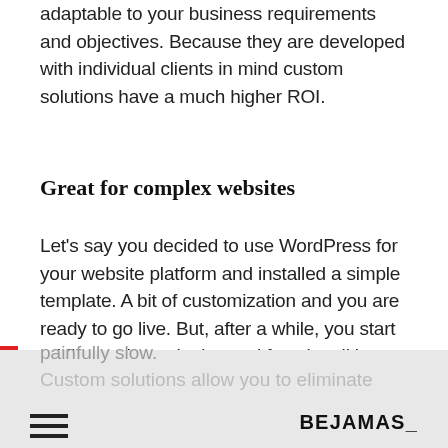adaptable to your business requirements and objectives. Because they are developed with individual clients in mind custom solutions have a much higher ROI.
Great for complex websites
Let's say you decided to use WordPress for your website platform and installed a simple template. A bit of customization and you are ready to go live. But, after a while, you start adding various plugins and functionalities, high-quality photos, and blog content.
The next thing you know your website is painfully slow.
Custom solutions allow you to eliminate
BEJAMAS_